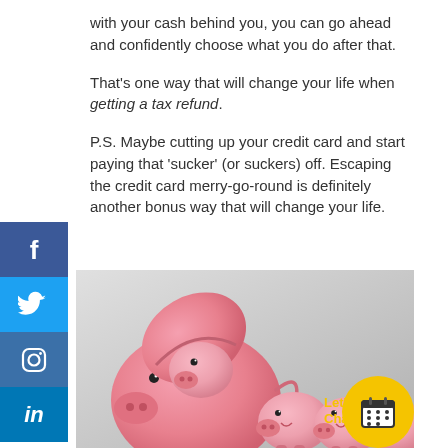with your cash behind you, you can go ahead and confidently choose what you do after that.
That's one way that will change your life when getting a tax refund.
P.S. Maybe cutting up your credit card and start paying that 'sucker' (or suckers) off. Escaping the credit card merry-go-round is definitely another bonus way that will change your life.
[Figure (photo): Photo of multiple pink piggy banks, one large piggy bank with its head open revealing a smaller piggy bank inside, and several smaller piggy banks arranged to the right, on a grey background. A yellow 'Let's Chat' button with a calendar icon appears in the bottom right corner.]